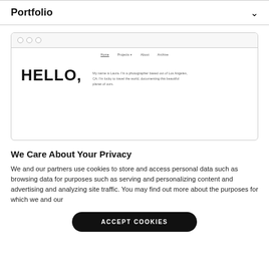Portfolio
[Figure (screenshot): Browser mockup showing a photography portfolio website with navigation links (Home, Projects, About, Archive) and large text 'HELLO,' with a description 'My name is Laura, I'm a photographer based out of Los Angeles, CA. I'm lucky to travel the world, documenting this beautiful planet of ours.']
We Care About Your Privacy
We and our partners use cookies to store and access personal data such as browsing data for purposes such as serving and personalizing content and advertising and analyzing site traffic. You may find out more about the purposes for which we and our
ACCEPT COOKIES